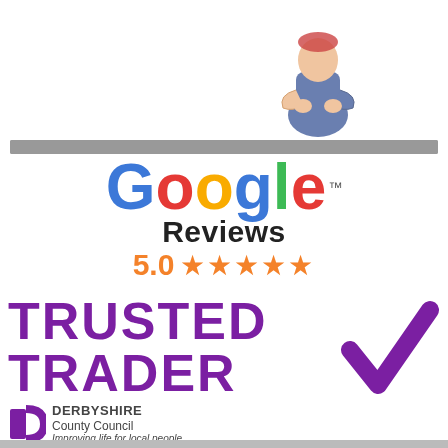[Figure (illustration): A cartoon businessman figure with arms crossed, standing above a gray horizontal bar]
[Figure (logo): Google Reviews logo with colored letters spelling Google, trademark symbol, and the word Reviews below]
5.0 ★★★★★
[Figure (logo): Trusted Trader logo with large purple text TRUSTED TRADER, a large purple checkmark to the right, and Derbyshire County Council branding below with the text Improving life for local people]